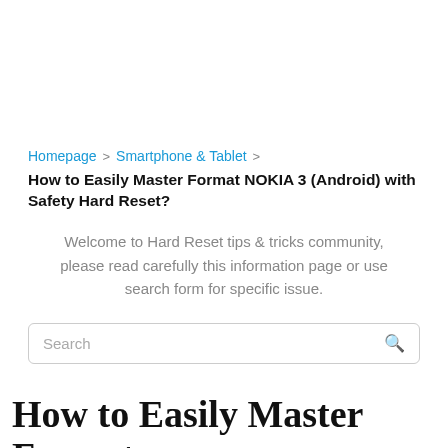Homepage > Smartphone & Tablet >
How to Easily Master Format NOKIA 3 (Android) with Safety Hard Reset?
Welcome to Hard Reset tips & tricks community, please read carefully this information page or use search form for specific issue.
Search
How to Easily Master Format